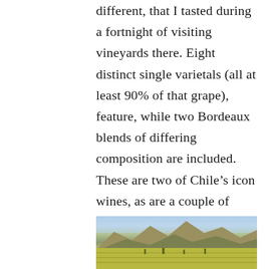different, that I tasted during a fortnight of visiting vineyards there. Eight distinct single varietals (all at least 90% of that grape), feature, while two Bordeaux blends of differing composition are included. These are two of Chile's icon wines, as are a couple of others, but wineries that may be less familiar to drinkers also make the cut.
[Figure (photo): Landscape photo showing rolling hills/mountains in the background with green vineyard fields in the foreground under a light blue sky.]